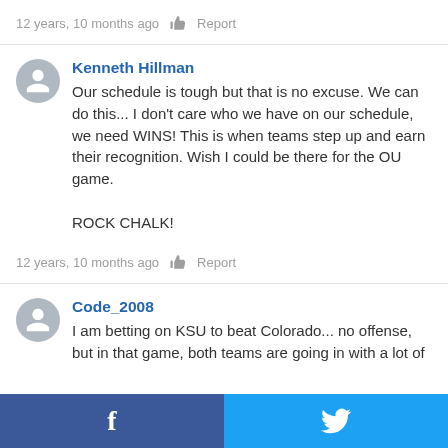12 years, 10 months ago   Report
Kenneth Hillman
Our schedule is tough but that is no excuse. We can do this... I don't care who we have on our schedule, we need WINS! This is when teams step up and earn their recognition. Wish I could be there for the OU game.

ROCK CHALK!
12 years, 10 months ago   Report
Code_2008
I am betting on KSU to beat Colorado... no offense, but in that game, both teams are going in with a lot of